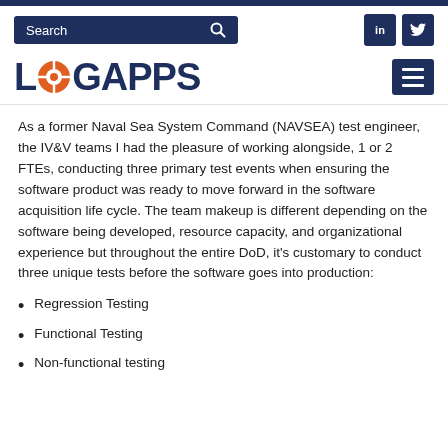LOGAPPS
As a former Naval Sea System Command (NAVSEA) test engineer, the IV&V teams I had the pleasure of working alongside, 1 or 2 FTEs, conducting three primary test events when ensuring the software product was ready to move forward in the software acquisition life cycle. The team makeup is different depending on the software being developed, resource capacity, and organizational experience but throughout the entire DoD, it’s customary to conduct three unique tests before the software goes into production:
Regression Testing
Functional Testing
Non-functional testing